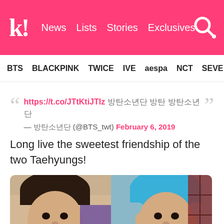k! News Lists Stories Exclusives
BTS BLACKPINK TWICE IVE aespa NCT SEVE
https://t.co/JTtKtiJTIz 방탄소년단 방탄 방탄소년단
— 방탄소년단 (@BTS_twt) February 6, 2019
Long live the sweetest friendship of the two Taehyungs!
[Figure (photo): Two young men taking selfies side by side. Left person has dark brown hair, right person has bright blue hair.]